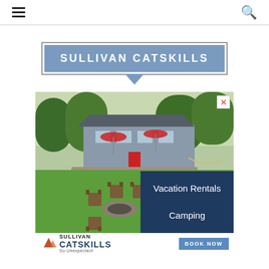≡  🔍
SULLIVAN CATSKILLS
[Figure (photo): Outdoor photo of a country house with a stone fire pit surrounded by wooden Adirondack chairs on a green lawn, trees in background, red umbrellas visible. Overlaid with a dark blue box reading 'Vacation Rentals Camping' and a footer with Sullivan Catskills logo and BOOK NOW button.]